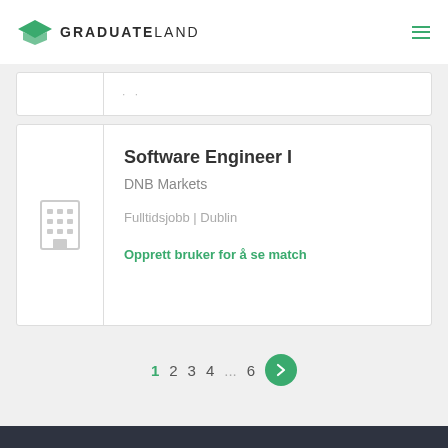GRADUATELAND
[Figure (screenshot): Partial job listing card showing truncated content with dots]
Software Engineer I
DNB Markets
Fulltidsjobb | Dublin
Opprett bruker for å se match
1 2 3 4 ... 6 >
Dark footer bar